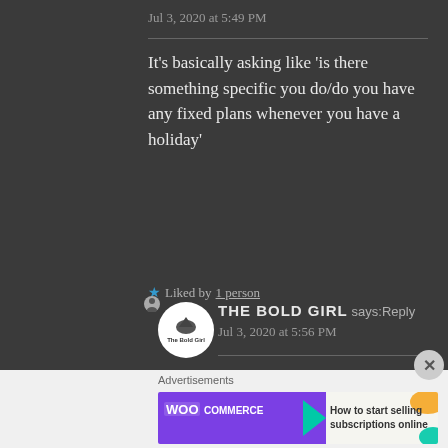Jul 3, 2020 at 5:49 PM
It’s basically asking like ‘is there something specific you do/do you have any fixed plans whenever you have a holiday’
★ Liked by 1 person
THE BOLD GIRL says: Reply
Jul 3, 2020 at 5:56 PM
[Figure (other): WooCommerce advertisement banner: How to start selling subscriptions online]
Advertisements